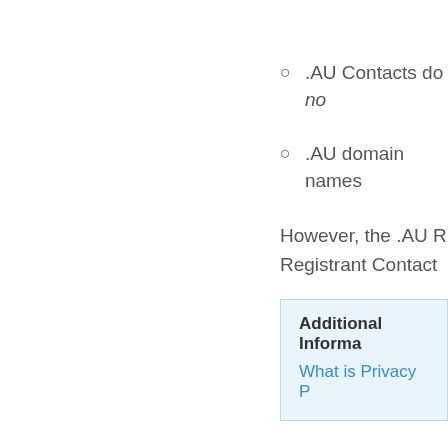.AU Contacts do no
.AU domain names
However, the .AU R Registrant Contact
Additional Informa
What is Privacy P
The Bulk Modify an
Additional Informa
Bulk Modify
Bulk Privacy Prot